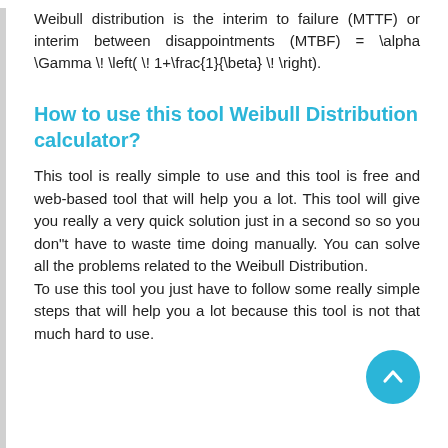Weibull distribution is the interim to failure (MTTF) or interim between disappointments (MTBF) = \alpha \Gamma \! \left( \! 1+\frac{1}{\beta} \! \right).
How to use this tool Weibull Distribution calculator?
This tool is really simple to use and this tool is free and web-based tool that will help you a lot. This tool will give you really a very quick solution just in a second so so you don"t have to waste time doing manually. You can solve all the problems related to the Weibull Distribution.
To use this tool you just have to follow some really simple steps that will help you a lot because this tool is not that much hard to use.